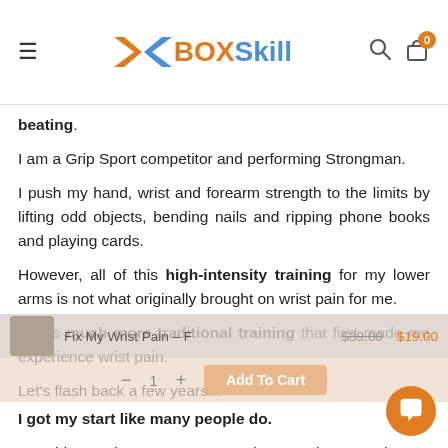BoxSkill navigation header with hamburger menu, logo, search and cart icons
beating.
I am a Grip Sport competitor and performing Strongman.
I push my hand, wrist and forearm strength to the limits by lifting odd objects, bending nails and ripping phone books and playing cards.
However, all of this high-intensity training for my lower arms is not what originally brought on wrist pain for me.
It was much more traditional training that first made me experience wrist pain.
Let's flash back a few years...
I got my start like many people do.
I would go to the grocery store and stop at the magazine